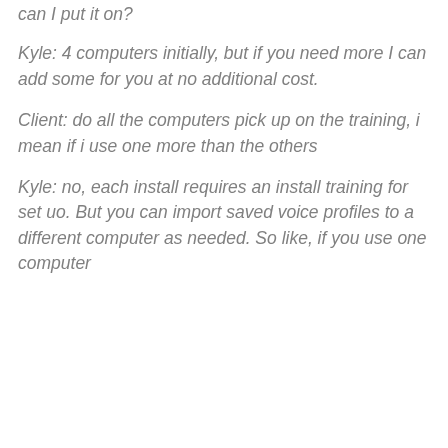can I put it on?
Kyle: 4 computers initially, but if you need more I can add some for you at no additional cost.
Client: do all the computers pick up on the training, i mean if i use one more than the others
Kyle: no, each install requires an install training for set uo. But you can import saved voice profiles to a different computer as needed. So like, if you use one computer